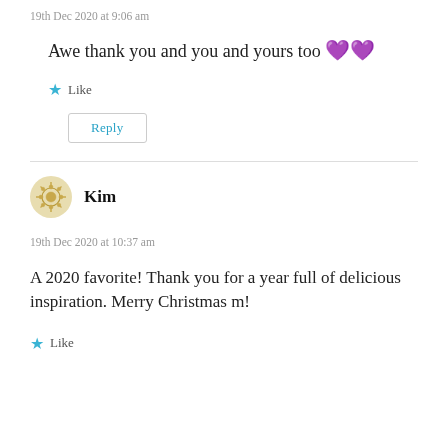19th Dec 2020 at 9:06 am
Awe thank you and you and yours too 💜💜
Like
Reply
Kim
19th Dec 2020 at 10:37 am
A 2020 favorite! Thank you for a year full of delicious inspiration. Merry Christmas m!
Like